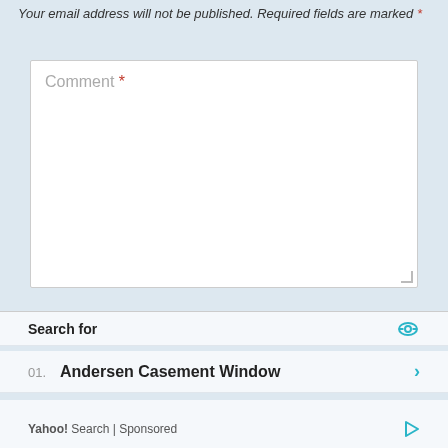Your email address will not be published. Required fields are marked *
[Figure (screenshot): A comment text area form field with placeholder text 'Comment *' where the asterisk is in red/orange color. The textarea has a white background with a light gray border.]
Search for
01. Andersen Casement Window
02. Top Fleet Maintenance Softwares
Yahoo! Search | Sponsored